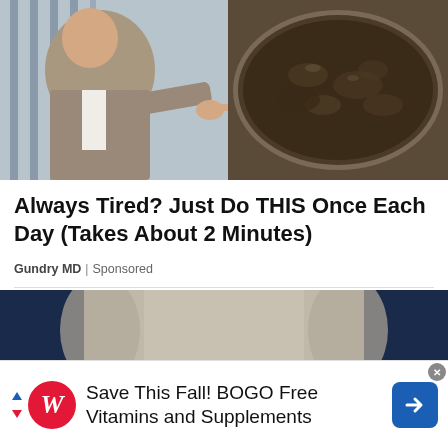[Figure (photo): Advertisement image showing a man in a suit pointing at something on the left, and a close-up of dark murky liquid or substance on the right]
Always Tired? Just Do THIS Once Each Day (Takes About 2 Minutes)
Gundry MD | Sponsored
[Figure (photo): Close-up portrait photo of a woman with light blonde/gray hair against a dark navy background, showing face from forehead to nose level]
[Figure (infographic): Walgreens advertisement banner: Save This Fall! BOGO Free Vitamins and Supplements, with Walgreens W logo and a blue direction arrow icon]